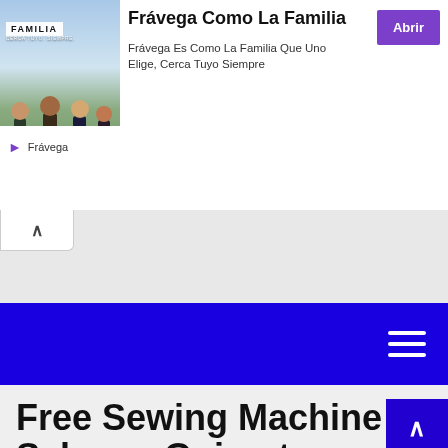[Figure (screenshot): Advertisement banner for Frávega Como La Familia. Contains a photo of a group of people, the text 'Frávega Como La Familia', subtitle 'Frávega Es Como La Familia Que Uno Elige, Cerca Tuyo Siempre', a purple 'Abrir' button, and the Frávega brand name with icon.]
[Figure (screenshot): A blue navigation bar with a white hamburger menu icon on the right side.]
Free Sewing Machine Scheme Gujarat